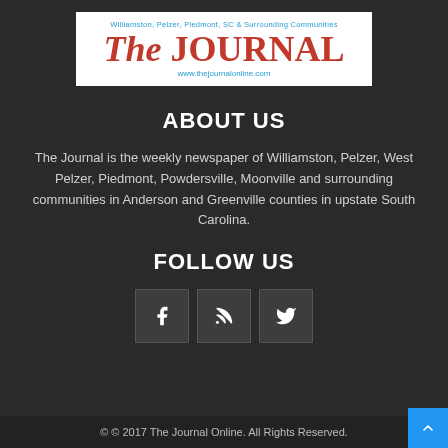[Figure (logo): The Journal newspaper logo with subtitle 'Williamston, Pelzer, Piedmont, SC & Surrounding Communities' and URL www.thejournalonline.com]
ABOUT US
The Journal is the weekly newspaper of Williamston, Pelzer, West Pelzer, Piedmont, Powdersville, Moonville and surrounding communities in Anderson and Greenville counties in upstate South Carolina.
FOLLOW US
[Figure (illustration): Three social media icon buttons: Facebook (f), RSS feed, and Twitter bird]
© © 2017 The Journal Online. All Rights Reserved.